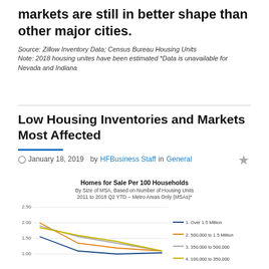markets are still in better shape than other major cities.
Source: Zillow Inventory Data; Census Bureau Housing Units
Note: 2018 housing unites have been estimated *Data is unavailable for Nevada and Indiana
Low Housing Inventories and Markets Most Affected
January 18, 2019   by HFBusiness Staff in General
[Figure (line-chart): Homes for Sale Per 100 Households
By Size of MSA, Based on Number of Housing Units
2011 to 2018 Q2 YTD – Metro Areas Only (MSAs)*]